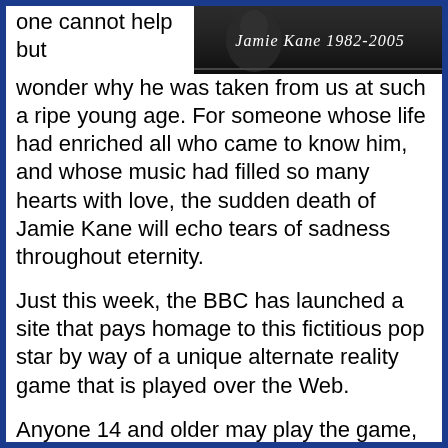[Figure (photo): A black and white photo banner with script text reading 'Jamie Kane 1982-2005']
one cannot help but wonder why he was taken from us at such a ripe young age. For someone whose life had enriched all who came to know him, and whose music had filled so many hearts with love, the sudden death of Jamie Kane will echo tears of sadness throughout eternity.
Just this week, the BBC has launched a site that pays homage to this fictitious pop star by way of a unique alternate reality game that is played over the Web.
Anyone 14 and older may play the game, which consists of a variety of media that together form the game play experience. Players will visit secret websites, receive personalized emails, and use specialized Flash applications that have all been ingeniously woven together to form this innovative